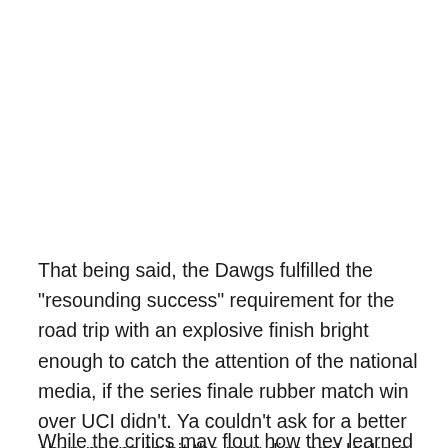That being said, the Dawgs fulfilled the "resounding success" requirement for the road trip with an explosive finish bright enough to catch the attention of the national media, if the series finale rubber match win over UCI didn't. Ya couldn't ask for a better champagne to hit the new digs and lockers with to launch the season.
While the critics may flout how they learned their